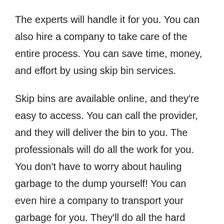The experts will handle it for you. You can also hire a company to take care of the entire process. You can save time, money, and effort by using skip bin services.
Skip bins are available online, and they're easy to access. You can call the provider, and they will deliver the bin to you. The professionals will do all the work for you. You don't have to worry about hauling garbage to the dump yourself! You can even hire a company to transport your garbage for you. They'll do all the hard work for you! The company will pick up the trash and take it away so you can get back to doing business!
Skip bin hire is the most convenient way to get rid of waste. Instead of wasting time and effort on cleaning up after a party, you can hire a skip bin for a couple of days and throw all the waste into it. Once the bin is full, you can